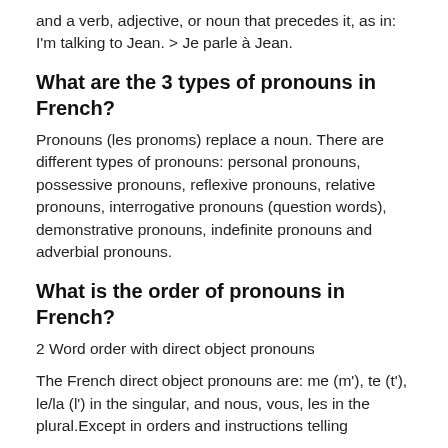and a verb, adjective, or noun that precedes it, as in: I'm talking to Jean. > Je parle à Jean.
What are the 3 types of pronouns in French?
Pronouns (les pronoms) replace a noun. There are different types of pronouns: personal pronouns, possessive pronouns, reflexive pronouns, relative pronouns, interrogative pronouns (question words), demonstrative pronouns, indefinite pronouns and adverbial pronouns.
What is the order of pronouns in French?
2 Word order with direct object pronouns
The French direct object pronouns are: me (m'), te (t'), le/la (l') in the singular, and nous, vous, les in the plural.Except in orders and instructions telling